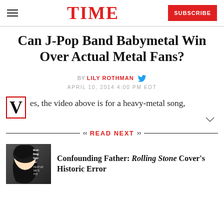TIME | SUBSCRIBE
Can J-Pop Band Babymetal Win Over Actual Metal Fans?
BY LILY ROTHMAN
APRIL 10, 2014 4:00 PM EDT
es, the video above is for a heavy-metal song,
READ NEXT
[Figure (photo): Photo of a woman with dark curly hair on a magazine cover (Rolling Stone)]
Confounding Father: Rolling Stone Cover's Historic Error